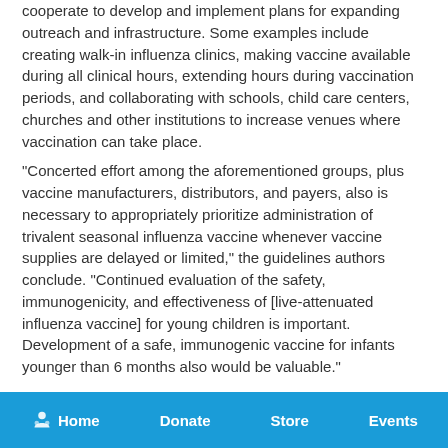cooperate to develop and implement plans for expanding outreach and infrastructure. Some examples include creating walk-in influenza clinics, making vaccine available during all clinical hours, extending hours during vaccination periods, and collaborating with schools, child care centers, churches and other institutions to increase venues where vaccination can take place.
"Concerted effort among the aforementioned groups, plus vaccine manufacturers, distributors, and payers, also is necessary to appropriately prioritize administration of trivalent seasonal influenza vaccine whenever vaccine supplies are delayed or limited," the guidelines authors conclude. "Continued evaluation of the safety, immunogenicity, and effectiveness of [live-attenuated influenza vaccine] for young children is important. Development of a safe, immunogenic vaccine for infants younger than 6 months also would be valuable."
All authors have disclosed that they filed conflict of interest
Home   Donate   Store   Events